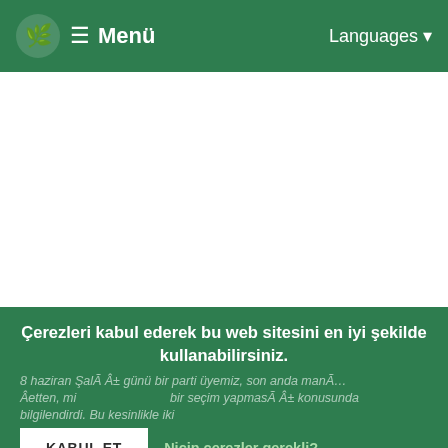☘ ≡ Menü   Languages ▾
[Figure (screenshot): White empty area representing page content area]
Çerezleri kabul ederek bu web sitesini en iyi şekilde kullanabilirsiniz.
8 haziran Şalà Â± günü bir parti üyemiz, son anda manÃ… Âetten, mi...bir seçim yapmasÃ Â± konusunda bilgilendirdi. Bu kesinlikle iki
KABUL ET
Niçin çerezler gerekli?